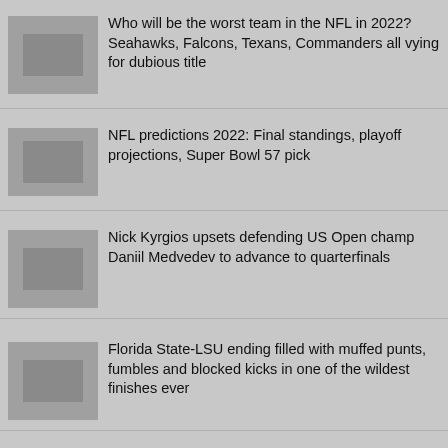Who will be the worst team in the NFL in 2022? Seahawks, Falcons, Texans, Commanders all vying for dubious title
NFL predictions 2022: Final standings, playoff projections, Super Bowl 57 pick
Nick Kyrgios upsets defending US Open champ Daniil Medvedev to advance to quarterfinals
Florida State-LSU ending filled with muffed punts, fumbles and blocked kicks in one of the wildest finishes ever